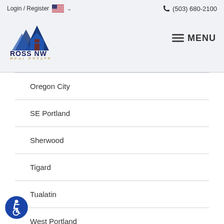[Figure (logo): Ross NW Real Estate logo with mountain/house icon in blue and dark blue, company name below]
Login / Register  🇺🇸 ∨   📞 (503) 680-2100
Oregon City
SE Portland
Sherwood
Tigard
Tualatin
West Portland
Wilsonville
[Figure (illustration): Accessibility icon button - blue circle with white wheelchair user symbol]